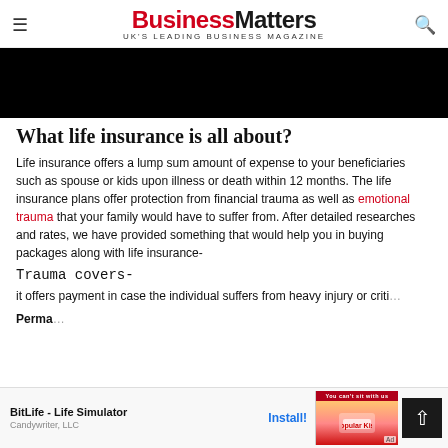BusinessMatters — UK'S LEADING BUSINESS MAGAZINE
[Figure (photo): Black hero image banner at top of article]
What life insurance is all about?
Life insurance offers a lump sum amount of expense to your beneficiaries such as spouse or kids upon illness or death within 12 months. The life insurance plans offer protection from financial trauma as well as emotional trauma that your family would have to suffer from. After detailed researches and rates, we have provided something that would help you in buying packages along with life insurance-
Trauma covers-
it offers payment in case the individual suffers from heavy injury or criti...
Perma...